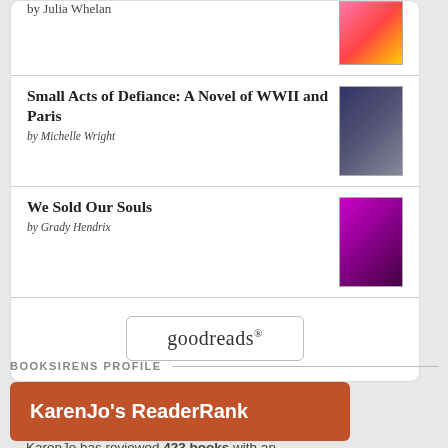Small Acts of Defiance: A Novel of WWII and Paris by Michelle Wright
We Sold Our Souls by Grady Hendrix
[Figure (logo): goodreads logo button]
BOOKSIRENS PROFILE
KarenJo's ReaderRank
KarenJo has reviewed 423 books with an